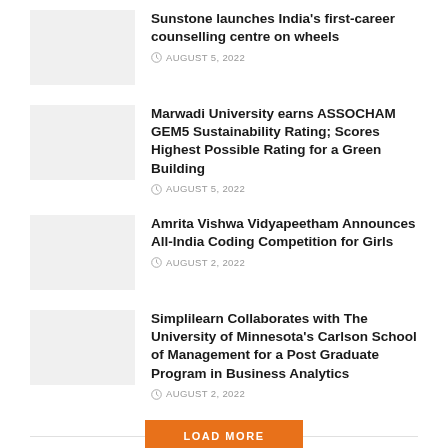Sunstone launches India's first-career counselling centre on wheels
AUGUST 5, 2022
Marwadi University earns ASSOCHAM GEM5 Sustainability Rating; Scores Highest Possible Rating for a Green Building
AUGUST 5, 2022
Amrita Vishwa Vidyapeetham Announces All-India Coding Competition for Girls
AUGUST 2, 2022
Simplilearn Collaborates with The University of Minnesota's Carlson School of Management for a Post Graduate Program in Business Analytics
AUGUST 2, 2022
LOAD MORE